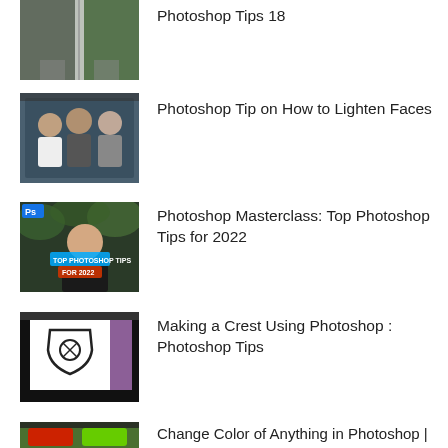[Figure (screenshot): Video thumbnail: wedding/path scene with Photoshop Tips 18]
Photoshop Tips 18
[Figure (screenshot): Video thumbnail: three men, Photoshop lightening faces tip]
Photoshop Tip on How to Lighten Faces
[Figure (screenshot): Video thumbnail: man smiling, Top Photoshop Tips for 2022]
Photoshop Masterclass: Top Photoshop Tips for 2022
[Figure (screenshot): Video thumbnail: crest/shield design in Photoshop]
Making a Crest Using Photoshop : Photoshop Tips
[Figure (screenshot): Video thumbnail: red jeep, color change in Photoshop]
Change Color of Anything in Photoshop | Quick Photoshop Tips and Tricks | Trick 1